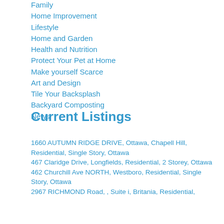Family
Home Improvement
Lifestyle
Home and Garden
Health and Nutrition
Protect Your Pet at Home
Make yourself Scarce
Art and Design
Tile Your Backsplash
Backyard Composting
News
Current Listings
1660 AUTUMN RIDGE DRIVE, Ottawa, Chapell Hill, Residential, Single Story, Ottawa
467 Claridge Drive, Longfields, Residential, 2 Storey, Ottawa
462 Churchill Ave NORTH, Westboro, Residential, Single Story, Ottawa
2967 RICHMOND Road, , Suite i, Britania, Residential,